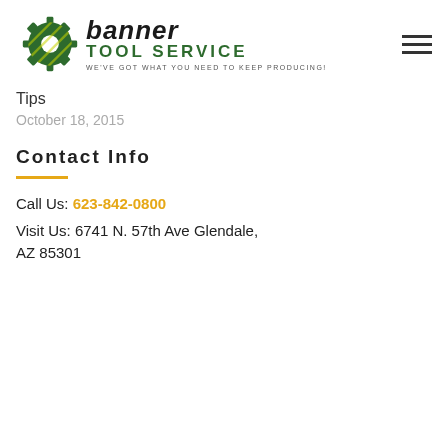[Figure (logo): Banner Tool Service logo with a green gear icon on the left and the company name in bold italic black text 'banner' on top and 'TOOL SERVICE' in green bold letters below, with tagline 'WE'VE GOT WHAT YOU NEED TO KEEP PRODUCING!' underneath. A hamburger menu icon appears on the right.]
Tips
October 18, 2015
Contact Info
Call Us: 623-842-0800
Visit Us: 6741 N. 57th Ave Glendale, AZ 85301